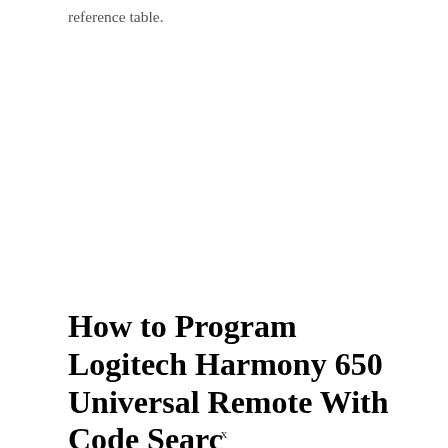reference table.
How to Program Logitech Harmony 650 Universal Remote With Code Search
x